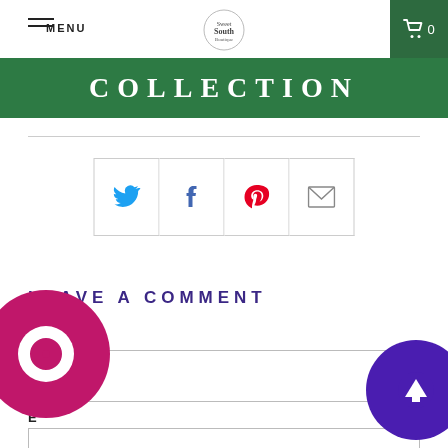MENU | [logo] | [cart 0]
COLLECTION
[Figure (infographic): Social share buttons: Twitter, Facebook, Pinterest, Email]
LEAVE A COMMENT
Name *
E[mail] *